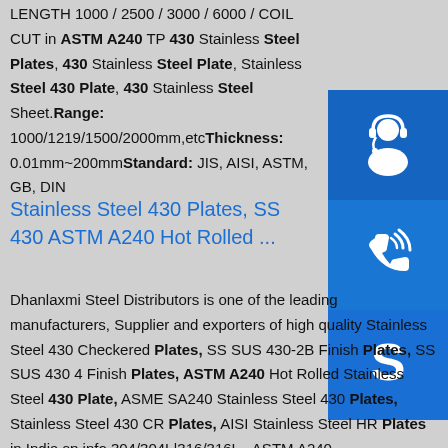LENGTH 1000 / 2500 / 3000 / 6000 / COIL CUT in ASTM A240 TP 430 Stainless Steel Plates, 430 Stainless Steel Plate, Stainless Steel 430 Plate, 430 Stainless Steel Sheet.Range: 1000/1219/1500/2000mm,etcThickness: 0.01mm~200mmStandard: JIS, AISI, ASTM, GB, DIN
[Figure (illustration): Three blue icon buttons stacked vertically: headset/support icon, phone/call icon, and Skype icon]
Stainless Steel 430 Plates, SS 430 ASTM A240 Hot Rolled ...
Dhanlaxmi Steel Distributors is one of the leading manufacturers, Supplier and exporters of high quality Stainless Steel 430 Checkered Plates, SS SUS 430-2B Finish Plates, SS SUS 430 4 Finish Plates, ASTM A240 Hot Rolled Stainless Steel 430 Plate, ASME SA240 Stainless Steel 430 Plates, Stainless Steel 430 CR Plates, AISI Stainless Steel HR Plates in India.sp.info 304/304L|316/316L - ASTM A240